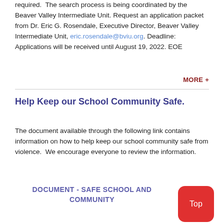required. The search process is being coordinated by the Beaver Valley Intermediate Unit. Request an application packet from Dr. Eric G. Rosendale, Executive Director, Beaver Valley Intermediate Unit, eric.rosendale@bviu.org. Deadline: Applications will be received until August 19, 2022. EOE
MORE +
Help Keep our School Community Safe.
The document available through the following link contains information on how to help keep our school community safe from violence.  We encourage everyone to review the information.
DOCUMENT - SAFE SCHOOL AND COMMUNITY